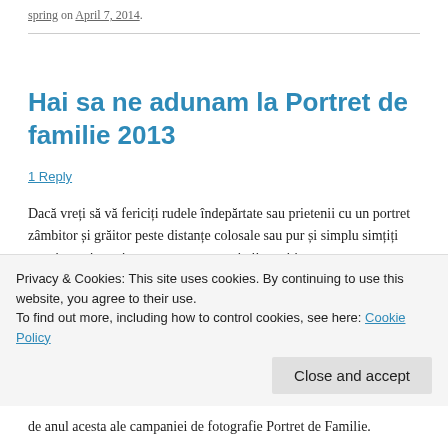spring on April 7, 2014.
Hai sa ne adunam la Portret de familie 2013
1 Reply
Dacă vreți să vă fericiți rudele îndepărtate sau prietenii cu un portret zâmbitor și grăitor peste distanțe colosale sau pur și simplu simțiți nevoia unui nou instantaneu cu apropiații, veniți
Privacy & Cookies: This site uses cookies. By continuing to use this website, you agree to their use.
To find out more, including how to control cookies, see here: Cookie Policy
de anul acesta ale campaniei de fotografie Portret de Familie.